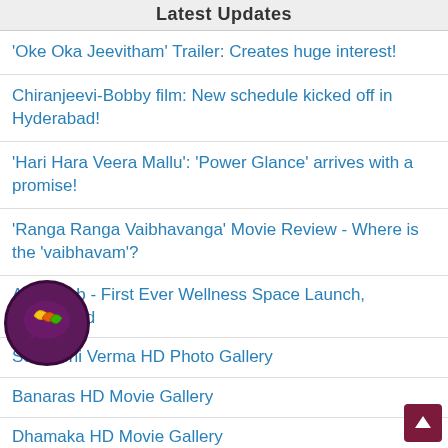Latest Updates
'Oke Oka Jeevitham' Trailer: Creates huge interest!
Chiranjeevi-Bobby film: New schedule kicked off in Hyderabad!
'Hari Hara Veera Mallu': 'Power Glance' arrives with a promise!
'Ranga Ranga Vaibhavanga' Movie Review - Where is the 'vaibhavam'?
Align Hub - First Ever Wellness Space Launch, Hyderabad
Sonakshi Verma HD Photo Gallery
Banaras HD Movie Gallery
Dhamaka HD Movie Gallery
a Swetha HD Photo Gallery
OTT Movie Opening Pooja Ceremony
View More Updates